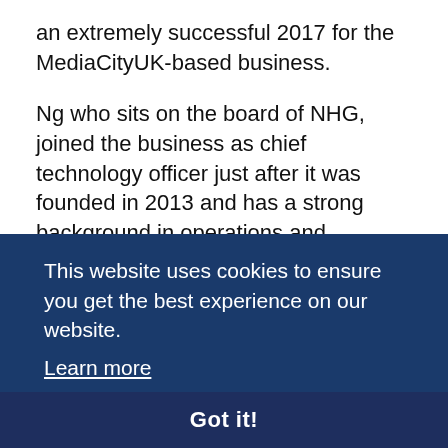an extremely successful 2017 for the MediaCityUK-based business.
Ng who sits on the board of NHG, joined the business as chief technology officer just after it was founded in 2013 and has a strong background in operations and succession planning having worked as operations director for a leading financial organisation.
Paul Maddox, who joined the business in early 2017 as Solutions Architect, has more than 15 years' experience [partially obscured] mens, [partially obscured] een [partially obscured] om [partially obscured] Now Healthcare Group app products.
This website uses cookies to ensure you get the best experience on our website. Learn more